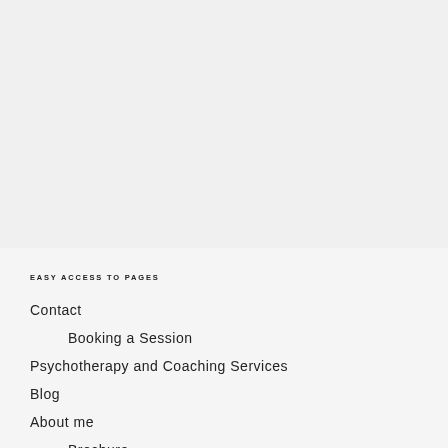EASY ACCESS TO PAGES
Contact
Booking a Session
Psychotherapy and Coaching Services
Blog
About me
Brochure